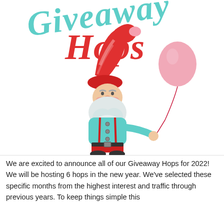[Figure (illustration): Colorful illustration showing a gnome/Santa character in a red striped hat holding a pink balloon, with decorative script text 'Giveaway Hops' above in teal and red colors]
We are excited to announce all of our Giveaway Hops for 2022! We will be hosting 6 hops in the new year. We've selected these specific months from the highest interest and traffic through previous years. To keep things simple this